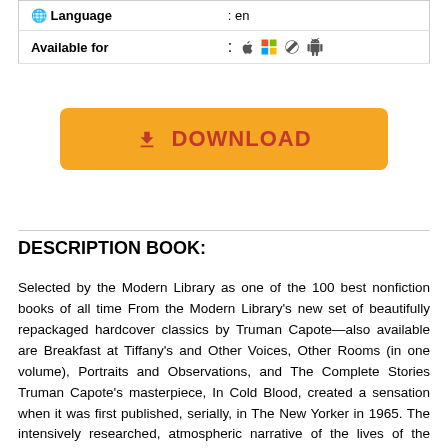| Language | : en |
| --- | --- |
| Available for | : 🍎 ⊞ 🐧 🤖 |
[Figure (other): Download button — orange/yellow rounded rectangle with red text 'DOWNLOAD' and a download icon]
DESCRIPTION BOOK:
Selected by the Modern Library as one of the 100 best nonfiction books of all time From the Modern Library's new set of beautifully repackaged hardcover classics by Truman Capote—also available are Breakfast at Tiffany's and Other Voices, Other Rooms (in one volume), Portraits and Observations, and The Complete Stories Truman Capote's masterpiece, In Cold Blood, created a sensation when it was first published, serially, in The New Yorker in 1965. The intensively researched, atmospheric narrative of the lives of the Clutter family of Holcomb, Kansas, and of the two men, Richard Eugene Hickock and Perry Edward Smith, who brutally killed